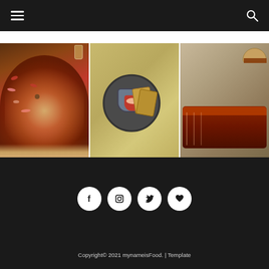Navigation bar with hamburger menu and search icon
[Figure (photo): Three food photos side by side: a pizza with ham and toppings on left, a soup bowl with toast on dark plate in center, and meat/ribs with burger on right]
[Figure (infographic): Social media icons: Facebook, Instagram, Twitter, and Heart/Bloglovin buttons in white circles on dark background]
Copyright© 2021 mynameisFood. | Template